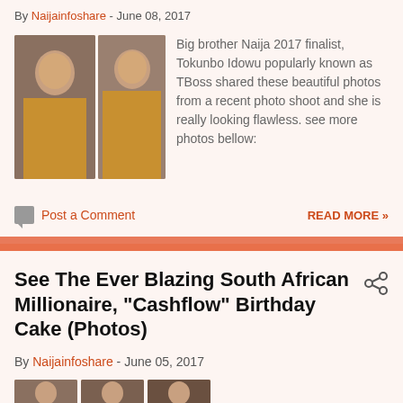By Naijainfoshare - June 08, 2017
[Figure (photo): Two photos of TBoss (Tokunbo Idowu) in a yellow outfit, photo shoot images side by side]
Big brother Naija 2017 finalist, Tokunbo Idowu popularly known as TBoss shared these beautiful photos from a recent photo shoot and she is really looking flawless. see more photos bellow:
Post a Comment
READ MORE »
See The Ever Blazing South African Millionaire, "Cashflow" Birthday Cake (Photos)
By Naijainfoshare - June 05, 2017
[Figure (photo): Thumbnail photos related to South African Millionaire Cashflow birthday cake article]